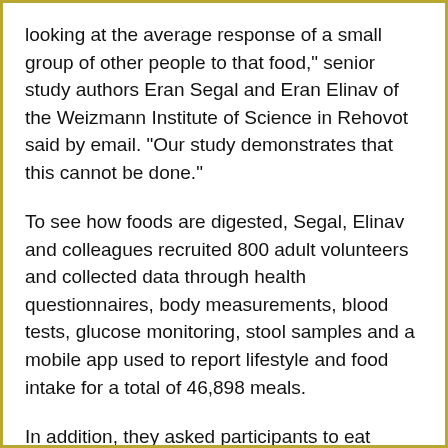looking at the average response of a small group of other people to that food," senior study authors Eran Segal and Eran Elinav of the Weizmann Institute of Science in Rehovot said by email. "Our study demonstrates that this cannot be done."
To see how foods are digested, Segal, Elinav and colleagues recruited 800 adult volunteers and collected data through health questionnaires, body measurements, blood tests, glucose monitoring, stool samples and a mobile app used to report lifestyle and food intake for a total of 46,898 meals.
In addition, they asked participants to eat similar meals for breakfast each day.
As expected, age and body weight appeared to impact blood sugar levels after meals.